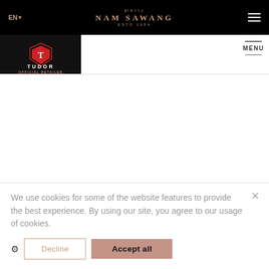EN ▾  · นำสว่าง ·  NAM SAWANG  ESTD 1954  ☰
[Figure (logo): Tudor Official Retailer logo on dark background with Tudor shield crest in red and white, and a red underline]
MENU
We use cookies for some of the website features to provide the best experience. By using our site, you agree to our usage of cookies.
⚙  Decline  Accept all